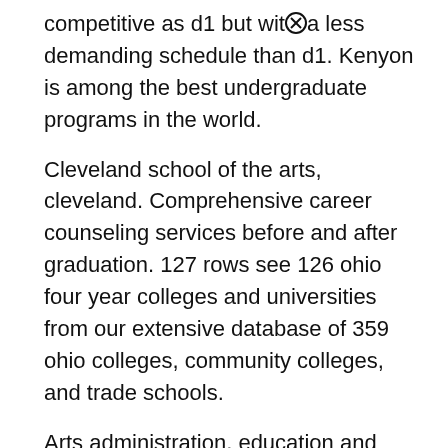competitive as d1 but with a less demanding schedule than d1. Kenyon is among the best undergraduate programs in the world.
Cleveland school of the arts, cleveland. Comprehensive career counseling services before and after graduation. 127 rows see 126 ohio four year colleges and universities from our extensive database of 359 ohio colleges, community colleges, and trade schools.
Arts administration, education and policy. #19 most liberal colleges in ohio sophomore : The uniqueness of intellectual students, excellent professors, and the beautiful campus is unbeatable.